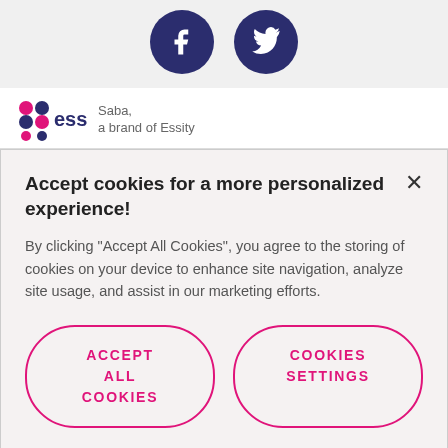[Figure (illustration): Social media icons: Facebook and Twitter circular dark blue buttons]
[Figure (logo): Essity logo with colored grid squares and brand name, alongside text 'Saba, a brand of Essity']
Accept cookies for a more personalized experience!
By clicking "Accept All Cookies", you agree to the storing of cookies on your device to enhance site navigation, analyze site usage, and assist in our marketing efforts.
ACCEPT ALL COOKIES
COOKIES SETTINGS